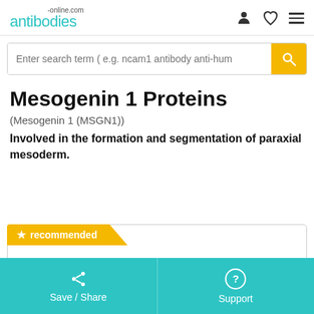antibodies-online.com
Enter search term ( e.g. ncam1 antibody anti-hum
Mesogenin 1 Proteins
(Mesogenin 1 (MSGN1))
Involved in the formation and segmentation of paraxial mesoderm.
★ recommended
Save / Share   Support